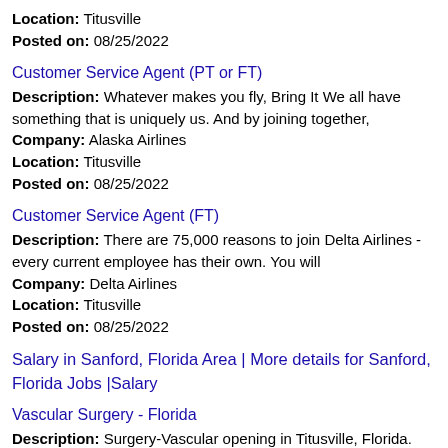Location: Titusville
Posted on: 08/25/2022
Customer Service Agent (PT or FT)
Description: Whatever makes you fly, Bring It We all have something that is uniquely us. And by joining together,
Company: Alaska Airlines
Location: Titusville
Posted on: 08/25/2022
Customer Service Agent (FT)
Description: There are 75,000 reasons to join Delta Airlines - every current employee has their own. You will
Company: Delta Airlines
Location: Titusville
Posted on: 08/25/2022
Salary in Sanford, Florida Area | More details for Sanford, Florida Jobs |Salary
Vascular Surgery - Florida
Description: Surgery-Vascular opening in Titusville, Florida. This and other physician jobs brought to you by DocCafe br br Coastal Florida Vascular SurgeryAn opportunity that